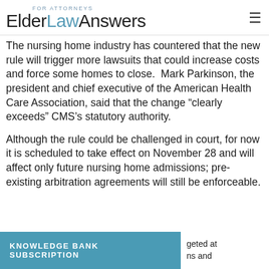FOR ATTORNEYS ElderLawAnswers
The nursing home industry has countered that the new rule will trigger more lawsuits that could increase costs and force some homes to close. Mark Parkinson, the president and chief executive of the American Health Care Association, said that the change “clearly exceeds” CMS’s statutory authority.
Although the rule could be challenged in court, for now it is scheduled to take effect on November 28 and will affect only future nursing home admissions; pre-existing arbitration agreements will still be enforceable.
KNOWLEDGE BANK SUBSCRIPTION …geted at …ns and